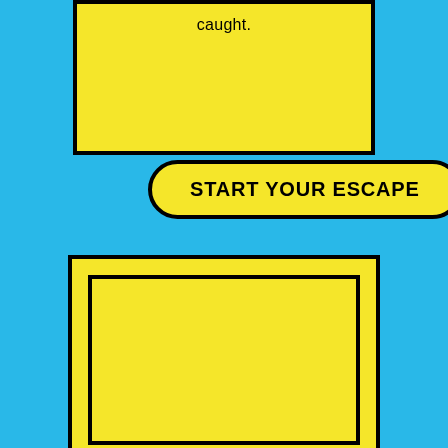[Figure (illustration): Top yellow card/panel with black border, partially cropped at top, containing the text 'caught.' near the top center]
caught.
[Figure (illustration): Yellow rounded rectangle button with black border and bold text 'START YOUR ESCAPE']
START YOUR ESCAPE
[Figure (illustration): Large yellow card/panel with black border containing an inner yellow rectangle with black border, both empty/blank]